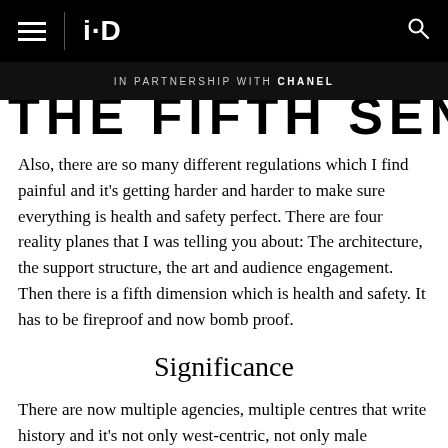i-D
IN PARTNERSHIP WITH CHANEL
THE FIFTH SENSE
Also, there are so many different regulations which I find painful and it's getting harder and harder to make sure everything is health and safety perfect. There are four reality planes that I was telling you about: The architecture, the support structure, the art and audience engagement. Then there is a fifth dimension which is health and safety. It has to be fireproof and now bomb proof.
Significance
There are now multiple agencies, multiple centres that write history and it's not only west-centric, not only male domination. There are female voices coming in strong positions, directors choosing female artists to be more